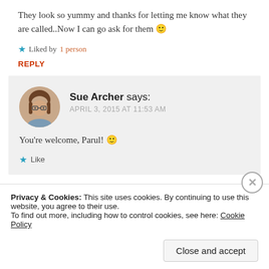They look so yummy and thanks for letting me know what they are called..Now I can go ask for them 🙂
★ Liked by 1 person
REPLY
Sue Archer says: APRIL 3, 2015 AT 11:53 AM
You're welcome, Parul! 🙂
★ Like
Privacy & Cookies: This site uses cookies. By continuing to use this website, you agree to their use. To find out more, including how to control cookies, see here: Cookie Policy
Close and accept